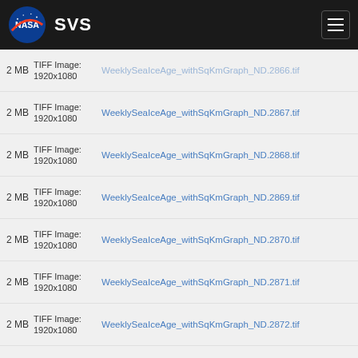NASA SVS
2 MB TIFF Image: 1920x1080 WeeklySeaIceAge_withSqKmGraph_ND.2867.tif
2 MB TIFF Image: 1920x1080 WeeklySeaIceAge_withSqKmGraph_ND.2868.tif
2 MB TIFF Image: 1920x1080 WeeklySeaIceAge_withSqKmGraph_ND.2869.tif
2 MB TIFF Image: 1920x1080 WeeklySeaIceAge_withSqKmGraph_ND.2870.tif
2 MB TIFF Image: 1920x1080 WeeklySeaIceAge_withSqKmGraph_ND.2871.tif
2 MB TIFF Image: 1920x1080 WeeklySeaIceAge_withSqKmGraph_ND.2872.tif
2 MB TIFF Image: 1920x1080 WeeklySeaIceAge_withSqKmGraph_ND.2873.tif
2 MB TIFF Image: 1920x1080 WeeklySeaIceAge_withSqKmGraph_ND.2874.tif
2 MB TIFF Image: 1920x1080 WeeklySeaIceAge_withSqKmGraph_ND.2875.tif